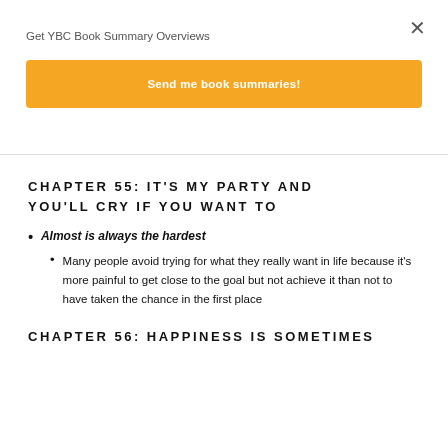Get YBC Book Summary Overviews
Send me book summaries!
CHAPTER 55: IT'S MY PARTY AND YOU'LL CRY IF YOU WANT TO
Almost is always the hardest
Many people avoid trying for what they really want in life because it's more painful to get close to the goal but not achieve it than not to have taken the chance in the first place
CHAPTER 56: HAPPINESS IS SOMETIMES